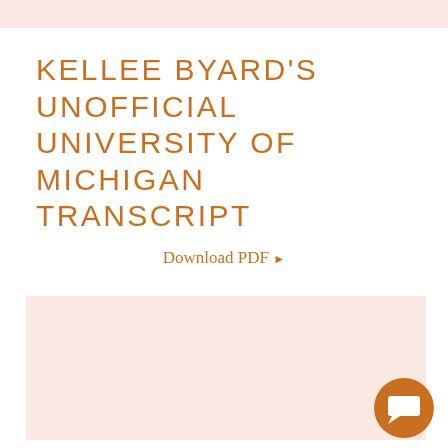KELLEE BYARD'S UNOFFICIAL UNIVERSITY OF MICHIGAN TRANSCRIPT
Download PDF ▶
[Figure (other): Light pink/salmon colored rectangular preview box representing a document thumbnail or embed area]
[Figure (other): Burnt orange circular chat/messaging button icon with white speech bubble symbol in bottom right corner]